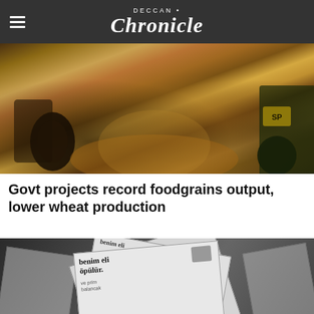Deccan Chronicle
[Figure (photo): Aerial view of grain/wheat being poured or harvested, showing large mounds of golden grain with machinery in the background]
Govt projects record foodgrains output, lower wheat production
[Figure (photo): Black and white image of scattered newspapers with text visible including 'benim eli öpülür', a white coffee cup and saucer, with a Deccan Chronicle logo overlay in bottom right and an orange chat button]